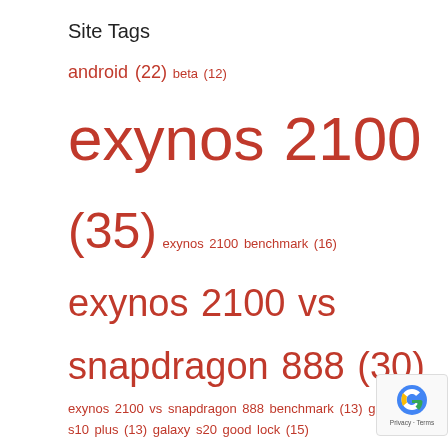Site Tags
android (22) beta (12) exynos 2100 (35) exynos 2100 benchmark (16) exynos 2100 vs snapdragon 888 (30) exynos 2100 vs snapdragon 888 benchmark (13) galaxy s10 plus (13) galaxy s20 good lock (15) galaxy s21 (30) game pass (13) game pass android review (14) game pass touch controls (12) game pass ultimate xcloud (12) good lock (14) good lock 2020 (15) good lock 2020 features (14) good lock 2020 update (14) good lock android 10 (14) good lock app (14) good lock for one ui (13) good lock for one (14) good lock one ui 2.1 (14) good lock review (14) g…